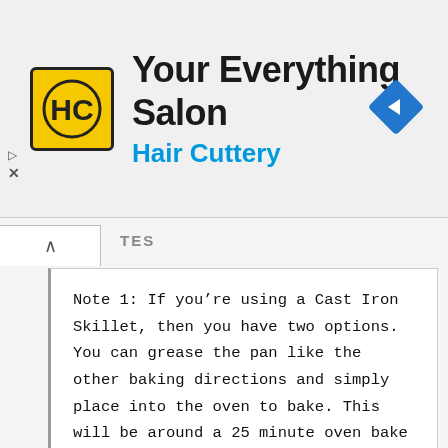[Figure (logo): Hair Cuttery advertisement banner with HC logo in yellow square, title 'Your Everything Salon', subtitle 'Hair Cuttery' in blue, and blue diamond navigation icon on the right]
Note 1: If you’re using a Cast Iron Skillet, then you have two options.  You can grease the pan like the other baking directions and simply place into the oven to bake.   This will be around a 25 minute oven bake time, maybe a little more.  OR If you want to do it the traditional skillet cornbread way,   You can heat your skillet over low-medium heat on the stovetop, while melting 1-2 tablespoons of butter that will end up greasing your skillet first.